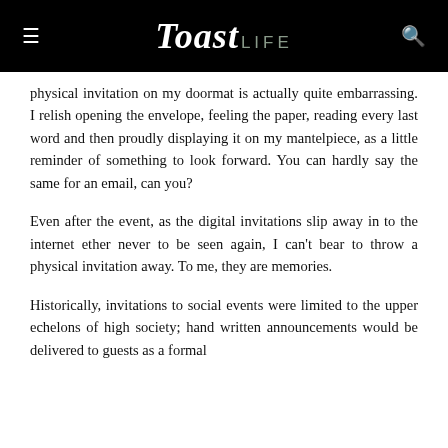Toast.LIFE
physical invitation on my doormat is actually quite embarrassing. I relish opening the envelope, feeling the paper, reading every last word and then proudly displaying it on my mantelpiece, as a little reminder of something to look forward. You can hardly say the same for an email, can you?
Even after the event, as the digital invitations slip away into the internet ether never to be seen again, I can't bear to throw a physical invitation away. To me, they are memories.
Historically, invitations to social events were limited to the upper echelons of high society; hand written announcements would be delivered to guests as a formal